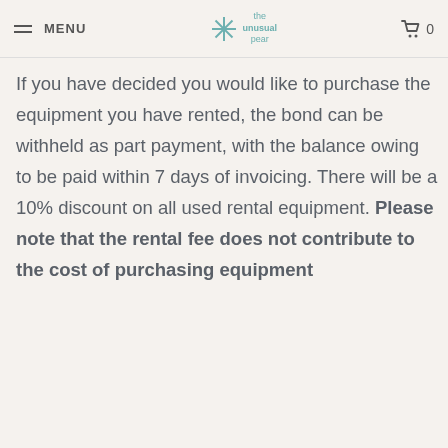MENU | the unusual pear | 0
If you have decided you would like to purchase the equipment you have rented, the bond can be withheld as part payment, with the balance owing to be paid within 7 days of invoicing. There will be a 10% discount on all used rental equipment. Please note that the rental fee does not contribute to the cost of purchasing equipment
Share:
CUSTOMER REVIEWS
Reviews are new to the store, so some